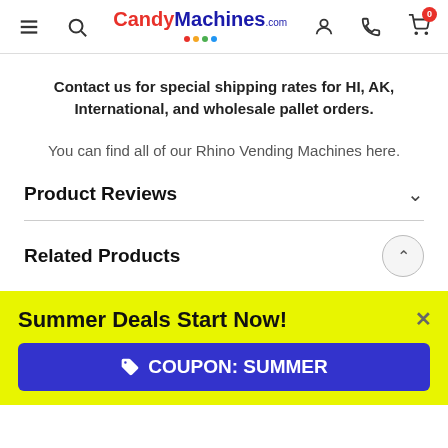CandyMachines.com navigation header
Contact us for special shipping rates for HI, AK, International, and wholesale pallet orders.
You can find all of our Rhino Vending Machines here.
Product Reviews
Related Products
Summer Deals Start Now!
COUPON: SUMMER